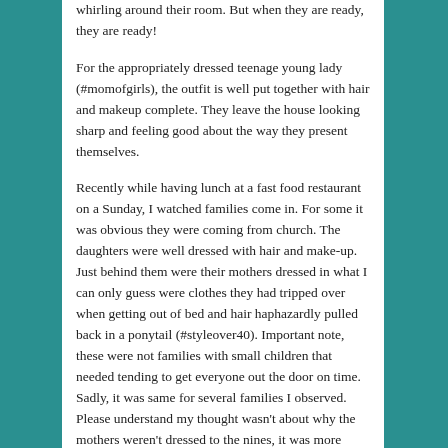whirling around their room. But when they are ready, they are ready!
For the appropriately dressed teenage young lady (#momofgirls), the outfit is well put together with hair and makeup complete. They leave the house looking sharp and feeling good about the way they present themselves.
Recently while having lunch at a fast food restaurant on a Sunday, I watched families come in. For some it was obvious they were coming from church. The daughters were well dressed with hair and make-up. Just behind them were their mothers dressed in what I can only guess were clothes they had tripped over when getting out of bed and hair haphazardly pulled back in a ponytail (#styleover40). Important note, these were not families with small children that needed tending to get everyone out the door on time. Sadly, it was same for several families I observed. Please understand my thought wasn't about why the mothers weren't dressed to the nines, it was more about taking a little pride in what they were wearing and how they presented themselves.